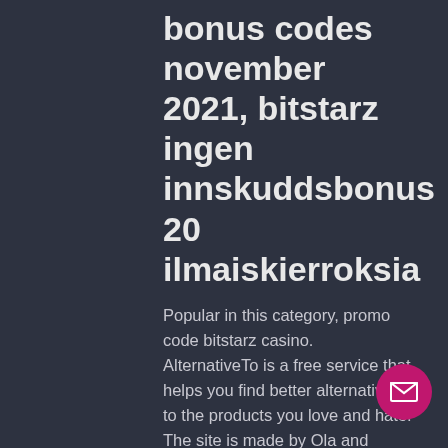bonus codes november 2021, bitstarz ingen innskuddsbonus 20 ilmaiskierroksia
Popular in this category, promo code bitstarz casino. AlternativeTo is a free service that helps you find better alternatives to the products you love and hate. The site is made by Ola and Markus in Sweden, with a lot of help from our friends and colleagues in Italy, Finland, USA, Colombia, Philippines, France and contributors from all over the world. Processing Deposits and Withdrawals, promo code bitstarz casino. Now try depositing this into your bank account and the joy that you feel could quickly ebb away, buzzluck casino bonus codes. Bonus f... free spins. For players: account holders... cash out: €100. Bitstarz casino ei